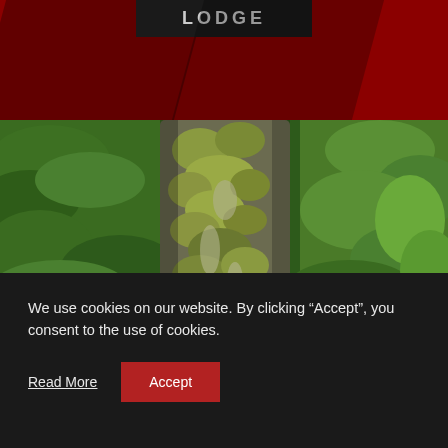[Figure (screenshot): Website header with dark red background, diagonal dark shadow shapes, and a dark button/label reading 'LODGE' in the center top]
[Figure (photo): Photograph of a moss-covered tree trunk or rock formation surrounded by lush green forest vegetation and foliage]
We use cookies on our website. By clicking “Accept”, you consent to the use of cookies.
Read More   Accept